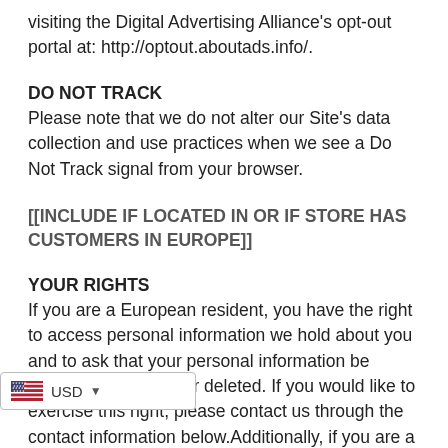visiting the Digital Advertising Alliance's opt-out portal at: http://optout.aboutads.info/.
DO NOT TRACK
Please note that we do not alter our Site's data collection and use practices when we see a Do Not Track signal from your browser.
[[INCLUDE IF LOCATED IN OR IF STORE HAS CUSTOMERS IN EUROPE]]
YOUR RIGHTS
If you are a European resident, you have the right to access personal information we hold about you and to ask that your personal information be corrected, updated, or deleted. If you would like to exercise this right, please contact us through the contact information below.Additionally, if you are a European resident we note that we are processing your information in contracts we might have with you (for example if you make an order through the Site), or otherwise to pursue our legitimate business interests listed above. Additionally,